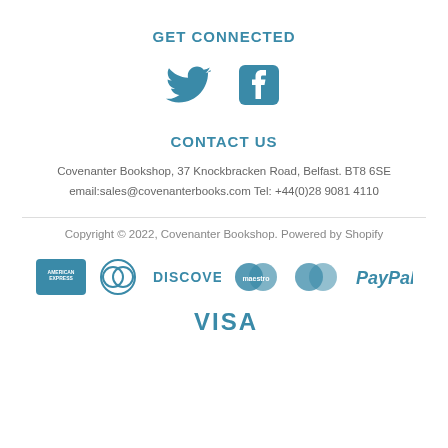GET CONNECTED
[Figure (illustration): Twitter bird icon and Facebook 'f' icon in teal/blue color]
CONTACT US
Covenanter Bookshop, 37 Knockbracken Road, Belfast. BT8 6SE
email:sales@covenanterbooks.com Tel: +44(0)28 9081 4110
Copyright © 2022, Covenanter Bookshop. Powered by Shopify
[Figure (logo): Payment method logos: American Express, Diners Club, Discover, Maestro, MasterCard, PayPal, Visa]